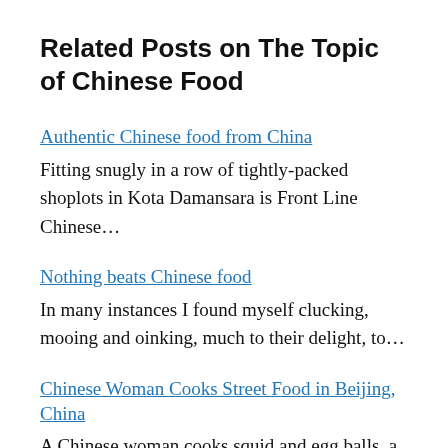Related Posts on The Topic of Chinese Food
Authentic Chinese food from China
Fitting snugly in a row of tightly-packed shoplots in Kota Damansara is Front Line Chinese…
Nothing beats Chinese food
In many instances I found myself clucking, mooing and oinking, much to their delight, to…
Chinese Woman Cooks Street Food in Beijing, China
A Chinese woman cooks squid and egg balls, a